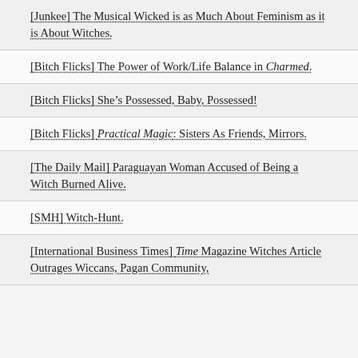[Junkee] The Musical Wicked is as Much About Feminism as it is About Witches.
[Bitch Flicks] The Power of Work/Life Balance in Charmed.
[Bitch Flicks] She’s Possessed, Baby, Possessed!
[Bitch Flicks] Practical Magic: Sisters As Friends, Mirrors.
[The Daily Mail] Paraguayan Woman Accused of Being a Witch Burned Alive.
[SMH] Witch-Hunt.
[International Business Times] Time Magazine Witches Article Outrages Wiccans, Pagan Community,